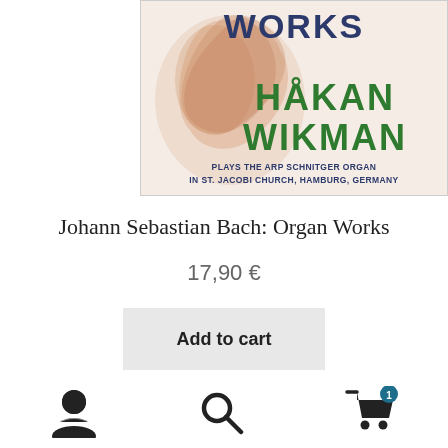[Figure (illustration): Album cover for Johann Sebastian Bach Organ Works by Håkan Wikman. Shows 'WORKS' in dark blue at top, 'HÅKAN WIKMAN' in large green text in middle, subtitle 'PLAYS THE ARP SCHNITGER ORGAN IN ST. JACOBI CHURCH, HAMBURG, GERMANY' in dark blue at bottom, with a decorative salmon-pink baroque figurative illustration in the background.]
Johann Sebastian Bach: Organ Works
17,90 €
Add to cart
[Figure (infographic): Bottom navigation bar with three icons: user/person icon on left, magnifying glass/search icon in center, shopping cart icon with badge showing '1' on right.]